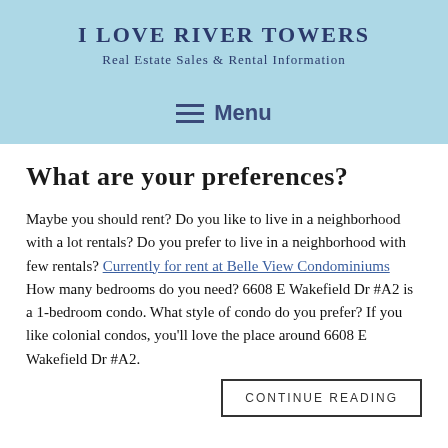I LOVE RIVER TOWERS
Real Estate Sales & Rental Information
Menu
What are your preferences?
Maybe you should rent? Do you like to live in a neighborhood with a lot rentals? Do you prefer to live in a neighborhood with few rentals? Currently for rent at Belle View Condominiums How many bedrooms do you need? 6608 E Wakefield Dr #A2 is a 1-bedroom condo. What style of condo do you prefer? If you like colonial condos, you'll love the place around 6608 E Wakefield Dr #A2.
CONTINUE READING